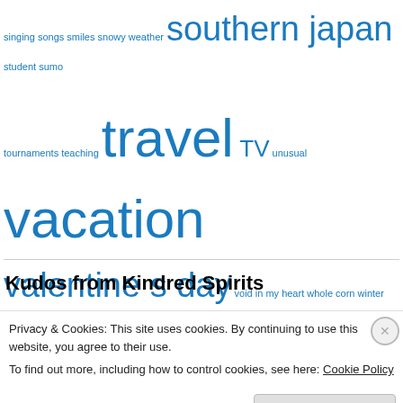singing songs smiles snowy weather southern japan student sumo
tournaments teaching travel TV unusual vacation
valentine s day void in my heart whole corn winter wonderful power www
youtube yellow
Kudos from Kindred Spirits
[Figure (photo): Butterfly and roses illustration — pink butterfly on pink roses with sparkles]
[Figure (photo): Dark image with a small candle flame]
Privacy & Cookies: This site uses cookies. By continuing to use this website, you agree to their use. To find out more, including how to control cookies, see here: Cookie Policy
Close and accept